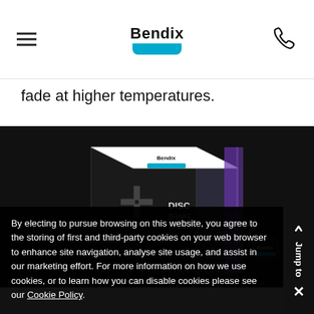Bendix (logo with hamburger menu and phone icon)
fade at higher temperatures.
[Figure (photo): Bendix Ultimate+ Disc Brake Pads product box, black packaging with blue and purple accents, shown at an angle against dark background with 'ULTIMATE' text visible]
By electing to pursue browsing on this website, you agree to the storing of first and third-party cookies on your web browser to enhance site navigation, analyse site usage, and assist in our marketing effort. For more information on how we use cookies, or to learn how you can disable cookies please see our Cookie Policy.